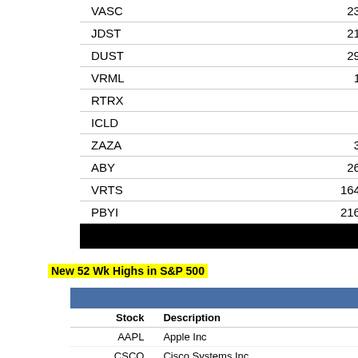| Stock | Price | Change | % Change |
| --- | --- | --- | --- |
| VASC | 23.74 | -6.76 | -22.2% |
| JDST | 21.57 | -5.1 | -19.1% |
| DUST | 29.79 | -6.44 | -17.8% |
| VRML | 1.48 | -0.27 | -15.4% |
| RTRX | 9.9 | -1.72 | -14.8% |
| ICLD | 3.5 | -0.44 | -11.2% |
| ZAZA | 3.18 | -0.37 | -10.4% |
| ABY | 26.87 | -3.09 | -10.3% |
| VRTS | 164.98 | -18.02 | -9.9% |
| PBYI | 216.22 | -23.27 | -9.7% |
| Provided by Livevol |  |  |  |
New 52 Wk Highs in S&P 500
| Stock | Description | Last_Price | Change | 52_wk |
| --- | --- | --- | --- | --- |
| AAPL | Apple Inc | $114.18 | $1.36 | $113... |
| CSCO | Cisco Systems Inc | $26.32 | $0.64 | $26... |
| HSP | Hospira Inc | $58.28 | $0.19 | $58... |